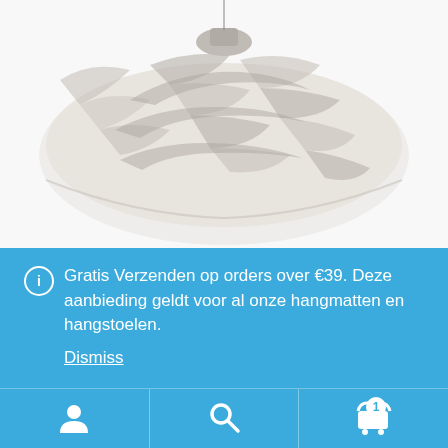[Figure (photo): A beige/cream colored woven hammock with herringbone stripe pattern, shown folded/bundled, viewed from above on a white background.]
ℹ Gratis Verzenden op orders over €39. Deze aanbieding geldt voor al onze hangmatten en hangstoelen.
Dismiss
[Figure (infographic): Bottom navigation bar with three icons: a person/account icon on the left, a search/magnifier icon in the center, and a shopping cart icon with a badge showing '1' on the right.]